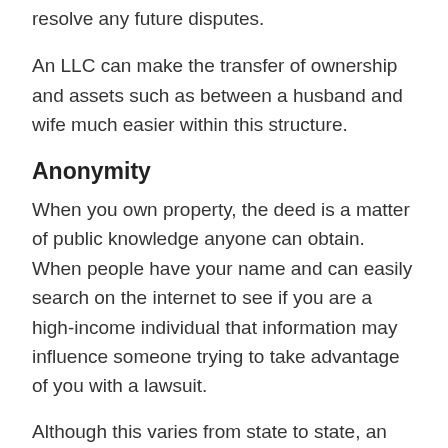resolve any future disputes.
An LLC can make the transfer of ownership and assets such as between a husband and wife much easier within this structure.
Anonymity
When you own property, the deed is a matter of public knowledge anyone can obtain. When people have your name and can easily search on the internet to see if you are a high-income individual that information may influence someone trying to take advantage of you with a lawsuit.
Although this varies from state to state, an LLC